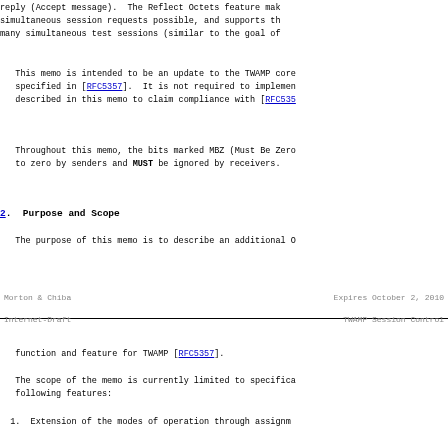reply (Accept message).  The Reflect Octets feature mak simultaneous session requests possible, and supports th many simultaneous test sessions (similar to the goal of
This memo is intended to be an update to the TWAMP core specified in [RFC5357].  It is not required to implemen described in this memo to claim compliance with [RFC535
Throughout this memo, the bits marked MBZ (Must Be Zero to zero by senders and MUST be ignored by receivers.
2.  Purpose and Scope
The purpose of this memo is to describe an additional O
Morton & Chiba                  Expires October 2, 2010
Internet-Draft              TWAMP Session Control
function and feature for TWAMP [RFC5357].
The scope of the memo is currently limited to specifica following features:
1.  Extension of the modes of operation through assignm